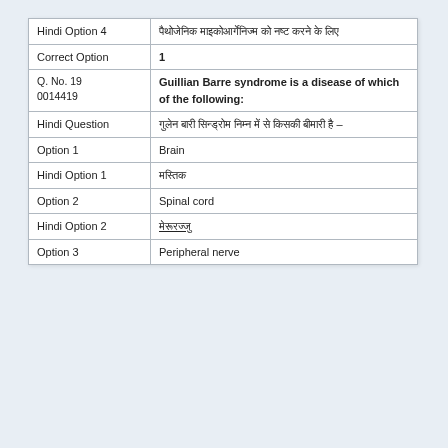| Field | Value |
| --- | --- |
| Hindi Option 4 | पैथोजेनिक माइकोआर्गेनिज्म को नष्ट करने के लिए |
| Correct Option | 1 |
| Q. No. 19
0014419 | Guillian Barre syndrome is a disease of which of the following: |
| Hindi Question | गुलेन बारी सिन्ड्रोम निम्न में से किसकी बीमारी है – |
| Option 1 | Brain |
| Hindi Option 1 | मस्तिक |
| Option 2 | Spinal cord |
| Hindi Option 2 | मेरूरज्जु |
| Option 3 | Peripheral nerve |